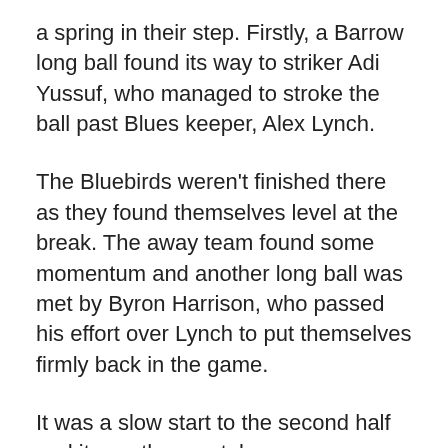a spring in their step. Firstly, a Barrow long ball found its way to striker Adi Yussuf, who managed to stroke the ball past Blues keeper, Alex Lynch.
The Bluebirds weren't finished there as they found themselves level at the break. The away team found some momentum and another long ball was met by Byron Harrison, who passed his effort over Lynch to put themselves firmly back in the game.
It was a slow start to the second half and it was the caretaker manager, Neill Hornby's side who came inches away from taking the lead for the first time in the match through substitute, Harry Panayiotou. The Barrow striker latched onto a right-wing cross but only to see his header glide inches past Alex Lynch's post.